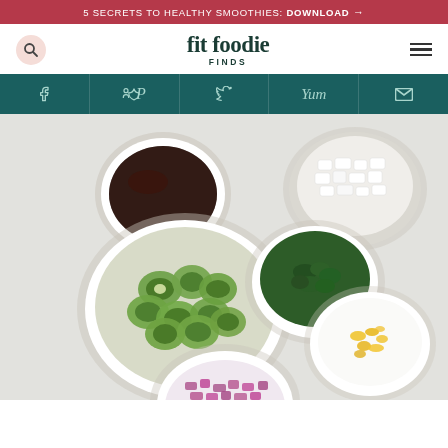5 SECRETS TO HEALTHY SMOOTHIES: DOWNLOAD →
[Figure (logo): Fit Foodie Finds logo with search icon and hamburger menu]
[Figure (infographic): Social media icon bar with Facebook, Pinterest, Twitter, Yummly, and Email icons on teal background]
[Figure (photo): Overhead photo of bowls with salad ingredients: sliced cucumbers, feta cheese, chopped herbs, red onion, lemon zest, and a dark dressing on a white surface]